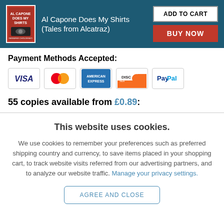[Figure (other): Product header bar with book cover image, title 'Al Capone Does My Shirts (Tales from Alcatraz)', ADD TO CART button, and BUY NOW button]
Payment Methods Accepted:
[Figure (other): Payment method icons: VISA, MasterCard, American Express, Discover, PayPal]
55 copies available from £0.89:
This website uses cookies.
We use cookies to remember your preferences such as preferred shipping country and currency, to save items placed in your shopping cart, to track website visits referred from our advertising partners, and to analyze our website traffic. Manage your privacy settings.